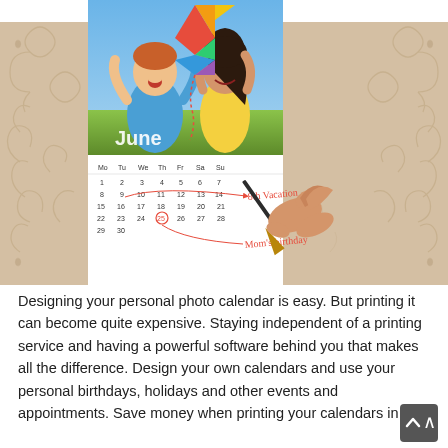[Figure (photo): A composite image showing a personal photo calendar. In the upper portion, two children (a boy in a blue shirt and a girl in a yellow outfit) are outdoors holding a rainbow kite against a blue sky. Below that is a June calendar page with handwritten annotations in red: '8th Vacation' and 'Mom's birthday' with a circled 25th. A hand holding a pen is shown writing on the calendar. The calendar sits on a beige/tan decorative damask patterned background.]
Designing your personal photo calendar is easy. But printing it can become quite expensive. Staying independent of a printing service and having a powerful software behind you that makes all the difference. Design your own calendars and use your personal birthdays, holidays and other events and appointments. Save money when printing your calendars in an